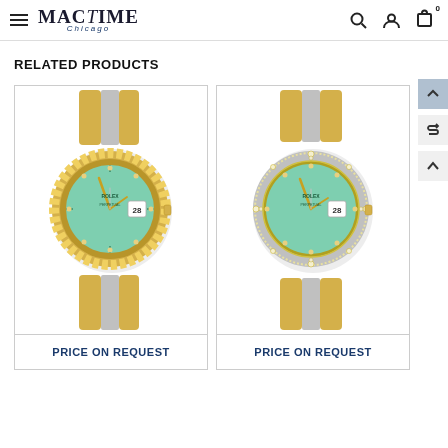MAC TIME Chicago — navigation header with hamburger menu, search, account, and cart icons
RELATED PRODUCTS
[Figure (photo): Rolex Lady-Datejust watch with two-tone gold and steel fluted bezel, mint green diamond dial, Oyster bracelet]
PRICE ON REQUEST
[Figure (photo): Rolex Lady-Datejust watch with two-tone gold and steel diamond bezel, mint green diamond dial, Oyster bracelet]
PRICE ON REQUEST